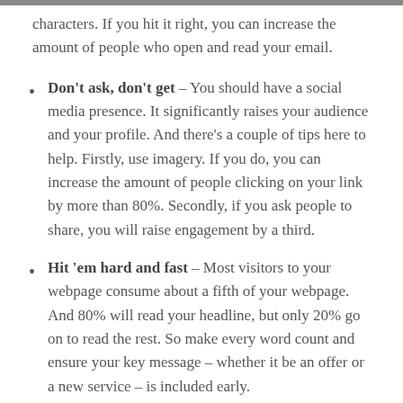characters. If you hit it right, you can increase the amount of people who open and read your email.
Don't ask, don't get – You should have a social media presence. It significantly raises your audience and your profile. And there's a couple of tips here to help. Firstly, use imagery. If you do, you can increase the amount of people clicking on your link by more than 80%. Secondly, if you ask people to share, you will raise engagement by a third.
Hit 'em hard and fast – Most visitors to your webpage consume about a fifth of your webpage. And 80% will read your headline, but only 20% go on to read the rest. So make every word count and ensure your key message – whether it be an offer or a new service – is included early.
Think mobile – More than half of your visitors will